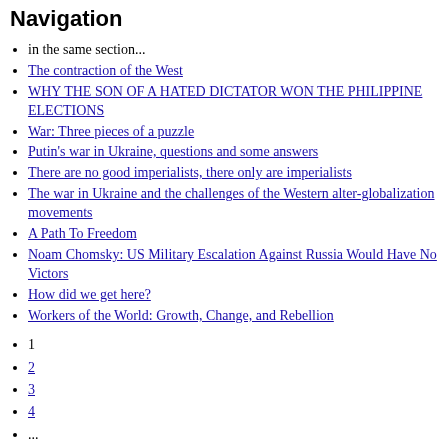Navigation
in the same section...
The contraction of the West
WHY THE SON OF A HATED DICTATOR WON THE PHILIPPINE ELECTIONS
War: Three pieces of a puzzle
Putin's war in Ukraine, questions and some answers
There are no good imperialists, there only are imperialists
The war in Ukraine and the challenges of the Western alter-globalization movements
A Path To Freedom
Noam Chomsky: US Military Escalation Against Russia Would Have No Victors
How did we get here?
Workers of the World: Growth, Change, and Rebellion
1
2
3
4
...